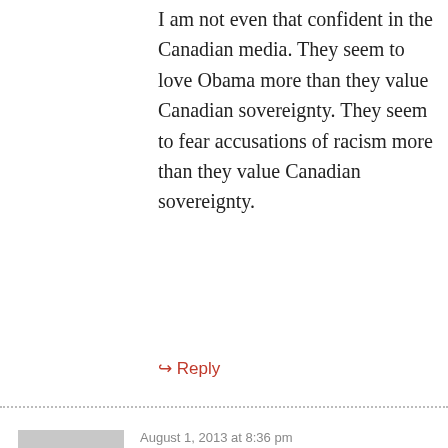I am not even that confident in the Canadian media. They seem to love Obama more than they value Canadian sovereignty. They seem to fear accusations of racism more than they value Canadian sovereignty.
↳ Reply
August 1, 2013 at 8:36 pm
Tortured
Blaze,
Not sure what is going to happen in the future but when I said the employee jumped the gun I meant he could Not legally freeze that account at that time but was acting as if there was already a FATCA deal in place. This is just my interpretation of the events